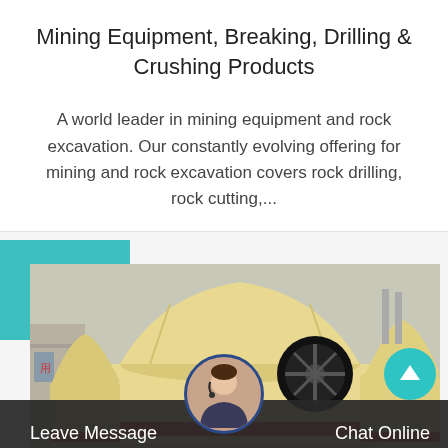Mining Equipment, Breaking, Drilling & Crushing Products
A world leader in mining equipment and rock excavation. Our constantly evolving offering for mining and rock excavation covers rock drilling, rock cutting,...
[Figure (photo): Photo of yellow cone crusher machines in a row with a flywheel visible, industrial mining equipment, in front of a teal decorative box element.]
Leave Message
Chat Online